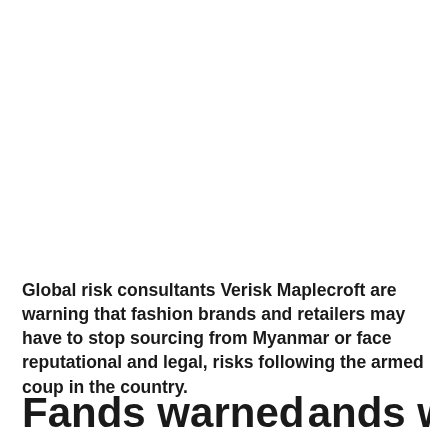Global risk consultants Verisk Maplecroft are warning that fashion brands and retailers may have to stop sourcing from Myanmar or face reputational and legal, risks following the armed coup in the country.
Fashion brands warned